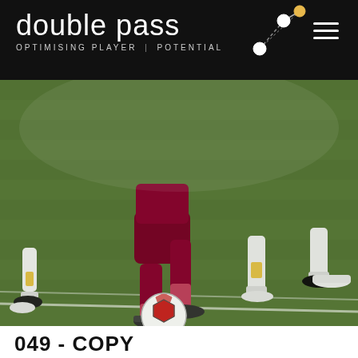[Figure (logo): Double Pass logo with network graphic and tagline OPTIMISING PLAYER POTENTIAL on black header bar with hamburger menu icon]
[Figure (photo): Soccer players running on a grass field, one player in dark red/maroon uniform with red socks and cleats dribbling a soccer ball, surrounded by players in white uniforms]
049 - COPY